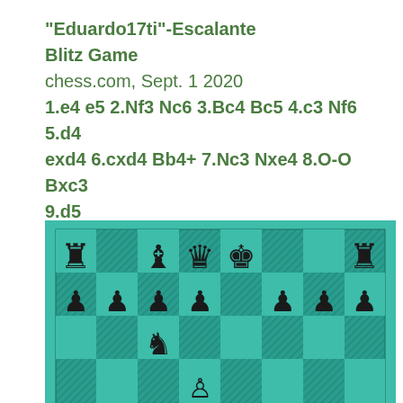“Eduardo17ti”-Escalante
Blitz Game
chess.com, Sept. 1 2020
1.e4 e5 2.Nf3 Nc6 3.Bc4 Bc5 4.c3 Nf6 5.d4 exd4 6.cxd4 Bb4+ 7.Nc3 Nxe4 8.O-O Bxc3 9.d5
[Figure (other): Chess board diagram showing position after 9.d5 in a Blitz game between Eduardo17ti and Escalante. Teal/turquoise colored board with black pieces visible including rooks, knights, bishop, queen, king on back rank and pawns on 7th rank, with a white knight on c3 area.]